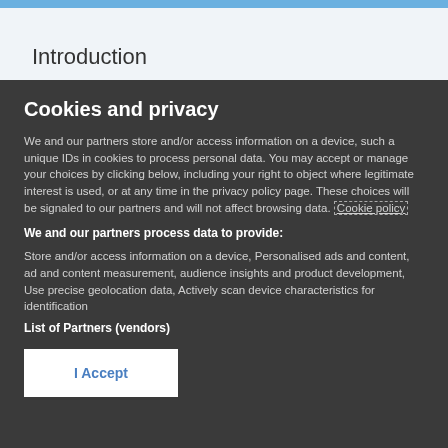Introduction
Cookies and privacy
We and our partners store and/or access information on a device, such a unique IDs in cookies to process personal data. You may accept or manage your choices by clicking below, including your right to object where legitimate interest is used, or at any time in the privacy policy page. These choices will be signaled to our partners and will not affect browsing data. Cookie policy
We and our partners process data to provide:
Store and/or access information on a device, Personalised ads and content, ad and content measurement, audience insights and product development, Use precise geolocation data, Actively scan device characteristics for identification
List of Partners (vendors)
I Accept